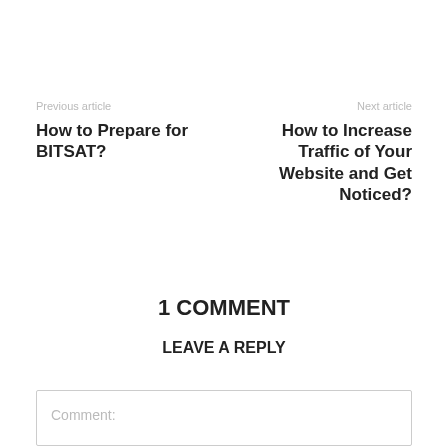Previous article
How to Prepare for BITSAT?
Next article
How to Increase Traffic of Your Website and Get Noticed?
1 COMMENT
LEAVE A REPLY
Comment: